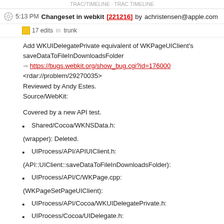TRAC/TIMELINE · TRAC TIMELINE
5:13 PM Changeset in webkit [221216] by achristensen@apple.com
17 edits   in trunk
Add WKUIDelegatePrivate equivalent of WKPageUIClient's saveDataToFileInDownloadsFolder
⇒ https://bugs.webkit.org/show_bug.cgi?id=176000
<rdar://problem/29270035>
Reviewed by Andy Estes.
Source/WebKit:
Covered by a new API test.
Shared/Cocoa/WKNSData.h:
(wrapper): Deleted.
UIProcess/API/APIUIClient.h:
(API::UIClient::saveDataToFileInDownloadsFolder):
UIProcess/API/C/WKPage.cpp:
(WKPageSetPageUIClient):
UIProcess/API/Cocoa/WKUIDelegatePrivate.h:
UIProcess/Cocoa/UIDelegate.h:
UIProcess/Cocoa/UIDelegate.mm:
(WebKit::UIDelegate::setDelegate):